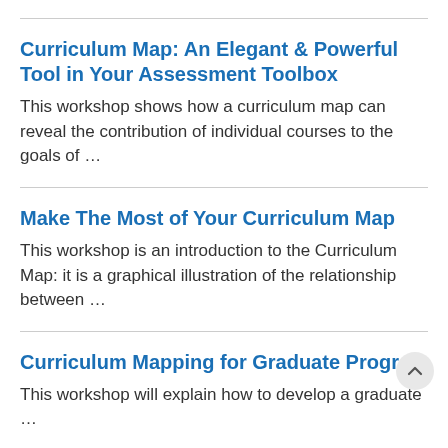Curriculum Map: An Elegant & Powerful Tool in Your Assessment Toolbox
This workshop shows how a curriculum map can reveal the contribution of individual courses to the goals of …
Make The Most of Your Curriculum Map
This workshop is an introduction to the Curriculum Map: it is a graphical illustration of the relationship between …
Curriculum Mapping for Graduate Progra…
This workshop will explain how to develop a graduate …